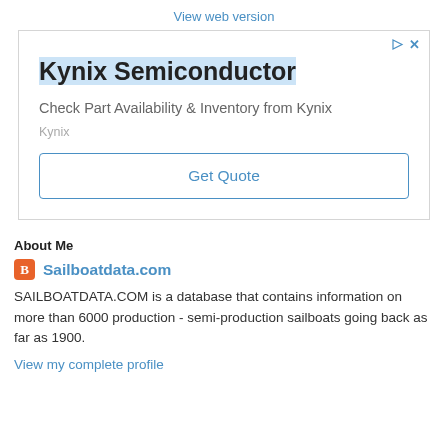View web version
[Figure (other): Advertisement for Kynix Semiconductor with title 'Kynix Semiconductor', description 'Check Part Availability & Inventory from Kynix', brand 'Kynix', and a 'Get Quote' button]
About Me
Sailboatdata.com
SAILBOATDATA.COM is a database that contains information on more than 6000 production - semi-production sailboats going back as far as 1900.
View my complete profile